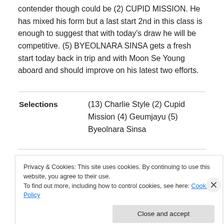contender though could be (2) CUPID MISSION. He has mixed his form but a last start 2nd in this class is enough to suggest that with today's draw he will be competitive. (5) BYEOLNARA SINSA gets a fresh start today back in trip and with Moon Se Young aboard and should improve on his latest two efforts.
Selections   (13) Charlie Style (2) Cupid Mission (4) Geumjayu (5) Byeolnara Sinsa
Privacy & Cookies: This site uses cookies. By continuing to use this website, you agree to their use.
To find out more, including how to control cookies, see here: Cookie Policy